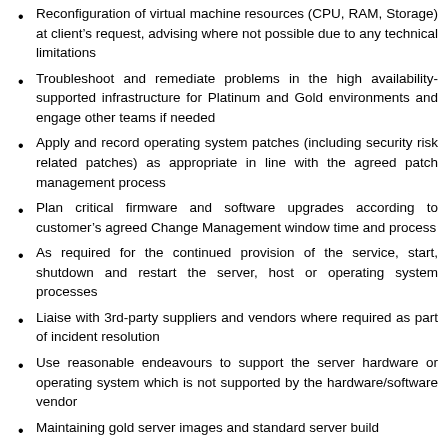Reconfiguration of virtual machine resources (CPU, RAM, Storage) at client's request, advising where not possible due to any technical limitations
Troubleshoot and remediate problems in the high availability-supported infrastructure for Platinum and Gold environments and engage other teams if needed
Apply and record operating system patches (including security risk related patches) as appropriate in line with the agreed patch management process
Plan critical firmware and software upgrades according to customer's agreed Change Management window time and process
As required for the continued provision of the service, start, shutdown and restart the server, host or operating system processes
Liaise with 3rd-party suppliers and vendors where required as part of incident resolution
Use reasonable endeavours to support the server hardware or operating system which is not supported by the hardware/software vendor
Maintaining gold server images and standard server build